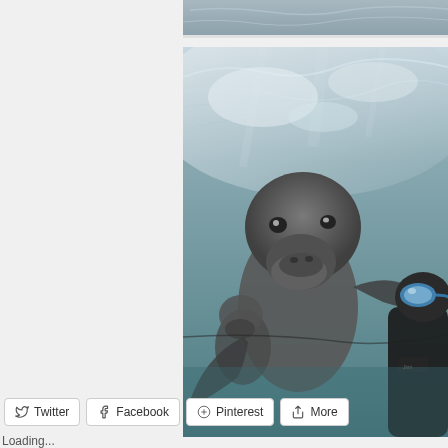[Figure (photo): Partial top strip of a body of water/ocean scene]
[Figure (photo): Underwater photo showing a sea lion or seal swimming close to the camera, with a snorkeler visible in the background wearing blue goggles and a black wetsuit. The scene is taken at the water surface with light filtering through.]
Twitter
Facebook
Pinterest
More
Loading...